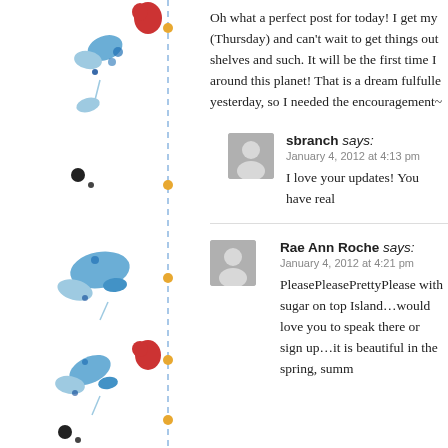[Figure (illustration): Decorative left sidebar with blue floral/nature watercolor illustrations, vertical dashed blue line with gold/orange dots, red heart shapes, black dots]
Oh what a perfect post for today! I get my (Thursday) and can't wait to get things out shelves and such. It will be the first time I around this planet! That is a dream fulfulle yesterday, so I needed the encouragement~
sbranch says:
January 4, 2012 at 4:13 pm
I love your updates! You have real
Rae Ann Roche says:
January 4, 2012 at 4:21 pm
PleasePleasePrettyPlease with sugar on top Island…would love you to speak there or sign up…it is beautiful in the spring, summ